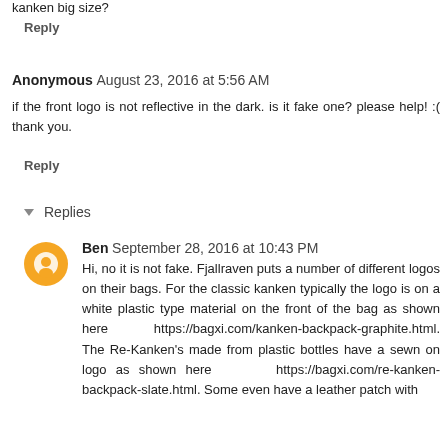kanken big size?
Reply
Anonymous August 23, 2016 at 5:56 AM
if the front logo is not reflective in the dark. is it fake one? please help! :( thank you.
Reply
Replies
Ben September 28, 2016 at 10:43 PM
Hi, no it is not fake. Fjallraven puts a number of different logos on their bags. For the classic kanken typically the logo is on a white plastic type material on the front of the bag as shown here https://bagxi.com/kanken-backpack-graphite.html. The Re-Kanken's made from plastic bottles have a sewn on logo as shown here https://bagxi.com/re-kanken-backpack-slate.html. Some even have a leather patch with